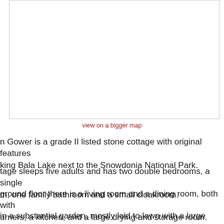[Figure (map): Embedded map placeholder showing a location near Bala Lake and Snowdonia National Park]
view on a bigger map
n Gower is a grade II listed stone cottage with original features king Bala Lake next to the Snowdonia National Park.
tage sleeps five adults and has two double bedrooms, a single m, one family bathroom and a small cloakroom.
ground floor there is a living room and a dining room, both with urners, a kitchen, and a large drying and storage room.
in a substantial garden, mostly laid to lawn with a large slate